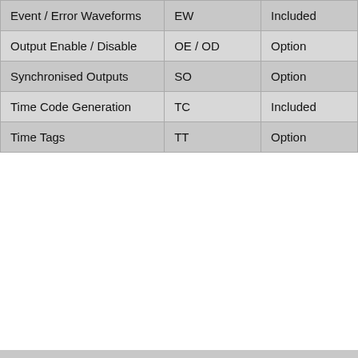| Event / Error Waveforms | EW | Included |
| Output Enable / Disable | OE / OD | Option |
| Synchronised Outputs | SO | Option |
| Time Code Generation | TC | Included |
| Time Tags | TT | Option |